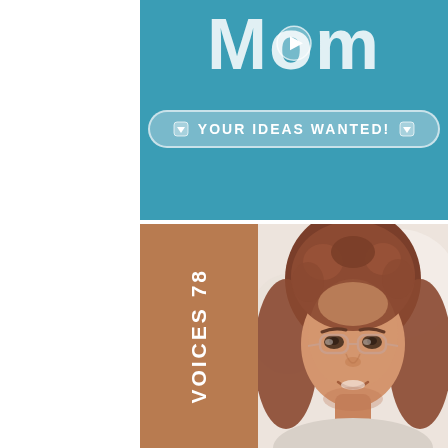[Figure (screenshot): Top half: teal/blue background with large white text 'Mom' and a play button icon overlay. A rounded badge reads '⬇ YOUR IDEAS WANTED! ⬇' in white bold text on a translucent background.]
[Figure (photo): Bottom half: portrait photo of a young woman with curly reddish-brown hair and clear-framed glasses, smiling, against a soft blurred background. A brown vertical sidebar on the left reads 'VOICES 78' rotated 90 degrees.]